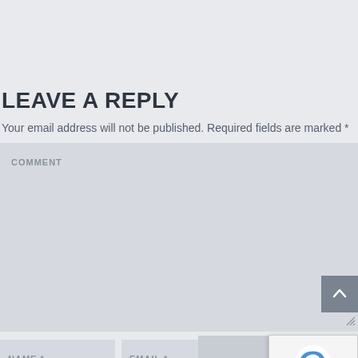LEAVE A REPLY
Your email address will not be published. Required fields are marked *
COMMENT
NAME *
EMAIL *
WEBSIT
POST COMMENT